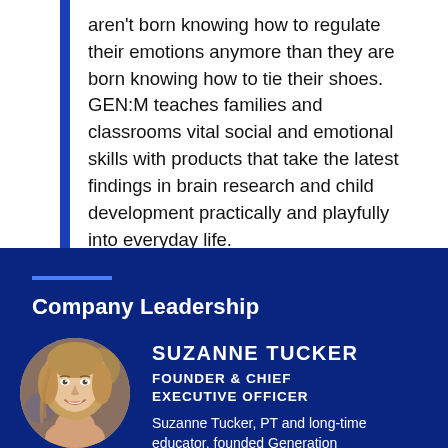aren't born knowing how to regulate their emotions anymore than they are born knowing how to tie their shoes. GEN:M teaches families and classrooms vital social and emotional skills with products that take the latest findings in brain research and child development practically and playfully into everyday life.
Company Leadership
[Figure (photo): Circular portrait photo of Suzanne Tucker, a smiling blonde woman]
SUZANNE TUCKER
FOUNDER & CHIEF EXECUTIVE OFFICER
Suzanne Tucker, PT and long-time educator, founded Generation